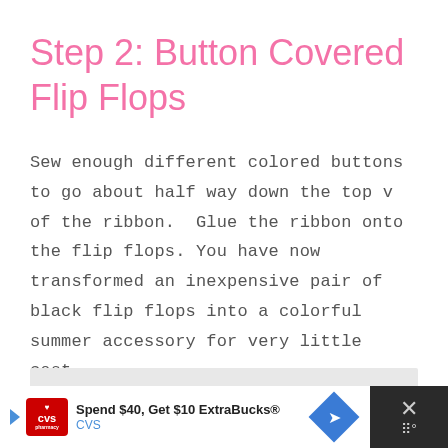Step 2: Button Covered Flip Flops
Sew enough different colored buttons to go about half way down the top v of the ribbon. Glue the ribbon onto the flip flops. You have now transformed an inexpensive pair of black flip flops into a colorful summer accessory for very little cost.
[Figure (other): CVS pharmacy advertisement banner: 'Spend $40, Get $10 ExtraBucks® CVS' with CVS logo, navigation arrow icon, and close button on dark background]